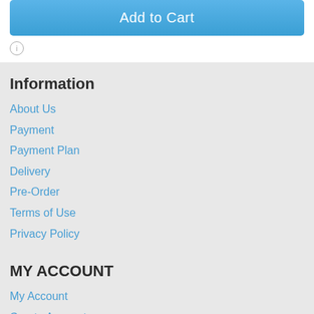Add to Cart
ℹ
Information
About Us
Payment
Payment Plan
Delivery
Pre-Order
Terms of Use
Privacy Policy
MY ACCOUNT
My Account
Create Account